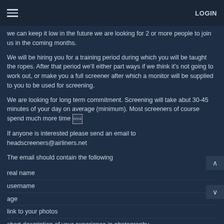LOGIN
we can keep it low in the future we are looking for 2 or more people to join us in the coming months.
We will be hiring you for a training period during which you will be taught the ropes. After that period we'll either part ways if we think it's not going to work out, or make you a full screener after which a monitor will be supplied to you to be used for screening.
We are looking for long term commitment. Screening will take abut 30-45 minutes of your day on average (minimum). Most screeners of course spend much more time [Wink]
If anyone is interested please send an email to headscreeners@airliners.net
The email should contain the following
real name
username
age
link to your photos
short description of your experience in photography
a short motivation on why we should choose you